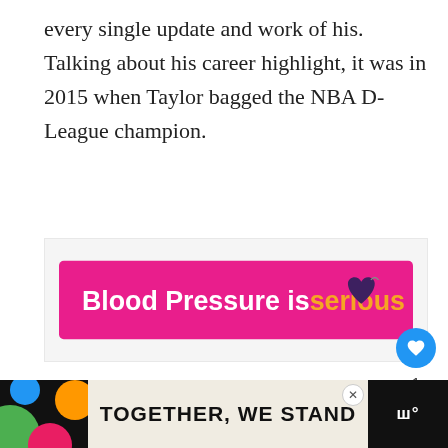every single update and work of his. Talking about his career highlight, it was in 2015 when Taylor bagged the NBA D-League champion.
[Figure (infographic): Pink advertisement banner with text 'Blood Pressure is serious' with a purple heart icon on the right.]
[Figure (infographic): Bottom advertisement banner with colorful design and text 'TOGETHER, WE STAND' with a close button and logo.]